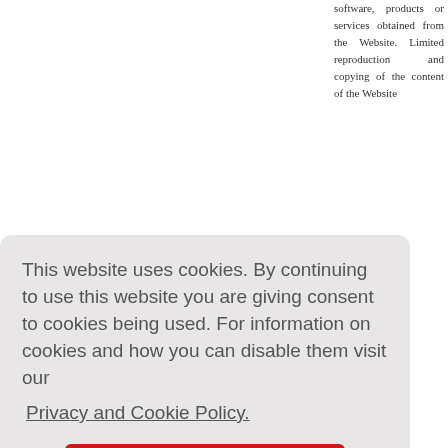software, products or services obtained from the Website. Limited reproduction and copying of the content of the Website
This website uses cookies. By continuing to use this website you are giving consent to cookies being used. For information on cookies and how you can disable them visit our
Privacy and Cookie Policy.
AGREE & PROCEED
wholesale